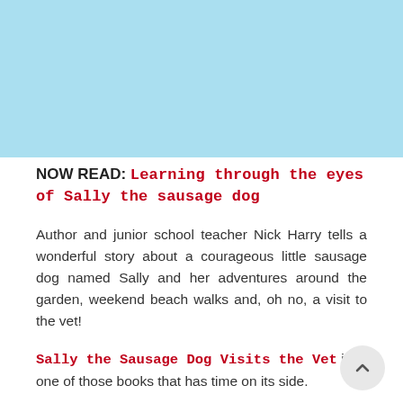[Figure (illustration): Light blue rectangular area at the top of the page, representing an image placeholder or decorative header region.]
NOW READ: Learning through the eyes of Sally the sausage dog
Author and junior school teacher Nick Harry tells a wonderful story about a courageous little sausage dog named Sally and her adventures around the garden, weekend beach walks and, oh no, a visit to the vet!
Sally the Sausage Dog Visits the Vet is one of those books that has time on its side.